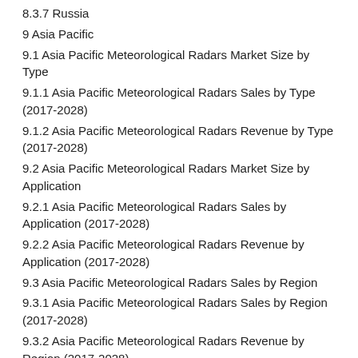8.3.7 Russia
9 Asia Pacific
9.1 Asia Pacific Meteorological Radars Market Size by Type
9.1.1 Asia Pacific Meteorological Radars Sales by Type (2017-2028)
9.1.2 Asia Pacific Meteorological Radars Revenue by Type (2017-2028)
9.2 Asia Pacific Meteorological Radars Market Size by Application
9.2.1 Asia Pacific Meteorological Radars Sales by Application (2017-2028)
9.2.2 Asia Pacific Meteorological Radars Revenue by Application (2017-2028)
9.3 Asia Pacific Meteorological Radars Sales by Region
9.3.1 Asia Pacific Meteorological Radars Sales by Region (2017-2028)
9.3.2 Asia Pacific Meteorological Radars Revenue by Region (2017-2028)
9.3.3 China
9.3.4 Japan